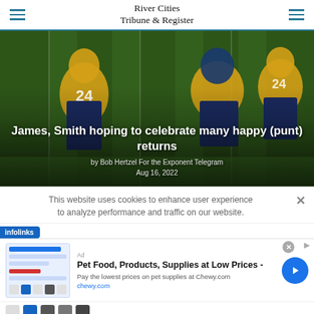River Cities Tribune & Register
[Figure (photo): Football players in yellow and navy uniforms on a green field. Overlaid text reads: 'James, Smith hoping to celebrate many happy (punt) returns' by Bob Hertzel For the Exponent Telegram, Aug 16, 2022.]
James, Smith hoping to celebrate many happy (punt) returns
by Bob Hertzel For the Exponent Telegram
Aug 16, 2022
This website uses cookies to enhance user experience to analyze performance and traffic on our website.
infolinks
Pet Food, Products, Supplies at Low Prices -
Pay the lowest prices on pet supplies at Chewy.com
chewy.com